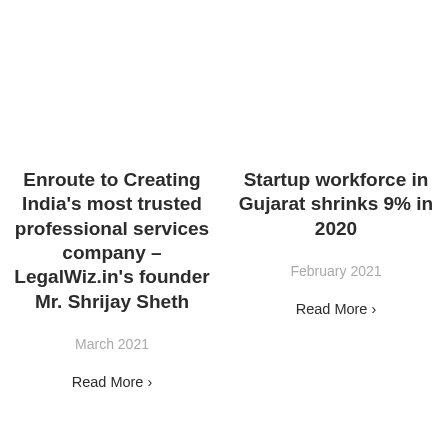Enroute to Creating India's most trusted professional services company – LegalWiz.in's founder Mr. Shrijay Sheth
March 2021
Read More ›
Startup workforce in Gujarat shrinks 9% in 2020
February 2021
Read More ›